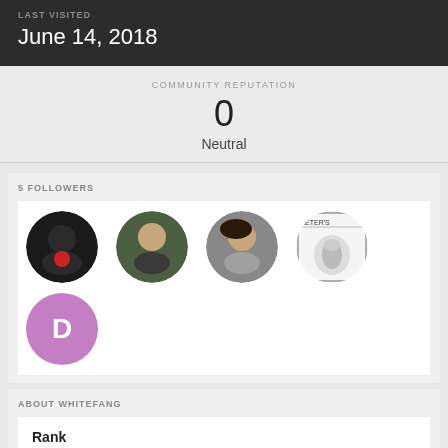LAST VISITED
June 14, 2018
COMMUNITY REPUTATION
0
Neutral
5 FOLLOWERS
[Figure (illustration): 5 follower avatars: 4 circular photo avatars in a row and one purple circle with D initial below]
ABOUT WHITEFANG
Rank
Helbreath Nemesis Developer